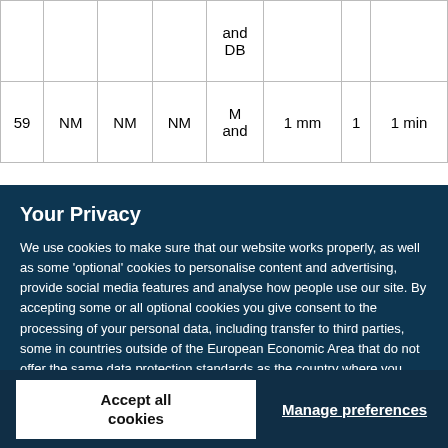|  |  |  |  | and
DB |  |  |  |
| 59 | NM | NM | NM | M
and | 1 mm | 1 | 1 min |
Your Privacy
We use cookies to make sure that our website works properly, as well as some ‘optional’ cookies to personalise content and advertising, provide social media features and analyse how people use our site. By accepting some or all optional cookies you give consent to the processing of your personal data, including transfer to third parties, some in countries outside of the European Economic Area that do not offer the same data protection standards as the country where you live. You can decide which optional cookies to accept by clicking on ‘Manage Settings’, where you can also find more information about how your personal data is processed. Further information can be found in our privacy policy.
Accept all cookies
Manage preferences